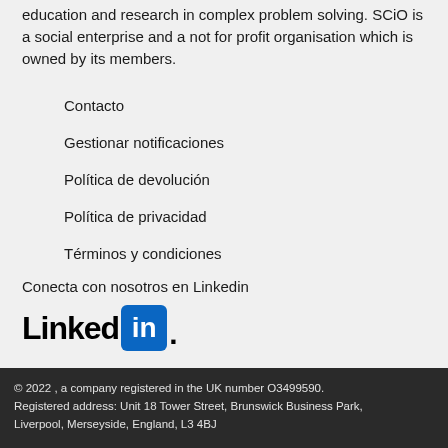education and research in complex problem solving. SCiO is a social enterprise and a not for profit organisation which is owned by its members.
Contacto
Gestionar notificaciones
Política de devolución
Política de privacidad
Términos y condiciones
Conecta con nosotros en Linkedin
[Figure (logo): LinkedIn logo with black 'Linked' text and blue box with white 'in' inside]
© 2022 , a company registered in the UK number O3499590. Registered address: Unit 18 Tower Street, Brunswick Business Park, Liverpool, Merseyside, England, L3 4BJ